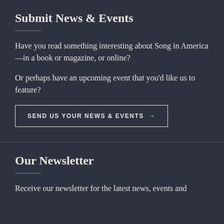Submit News & Events
Have you read something interesting about Song in America—in a book or magazine, or online?
Or perhaps have an upcoming event that you'd like us to feature?
SEND US YOUR NEWS & EVENTS →
Our Newsletter
Receive our newsletter for the latest news, events and